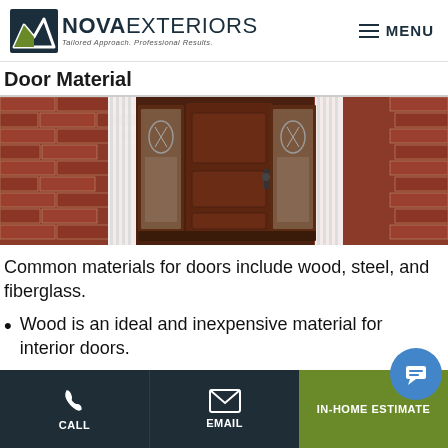NOVA EXTERIORS — Tailored Approach. Professional Results. | MENU
Door Material
[Figure (photo): Dark mahogany wood front door with sidelights featuring decorative glass, flanked by white columns and brick exterior]
Common materials for doors include wood, steel, and fiberglass.
Wood is an ideal and inexpensive material for interior doors.
CALL | EMAIL | IN-HOME ESTIMATE